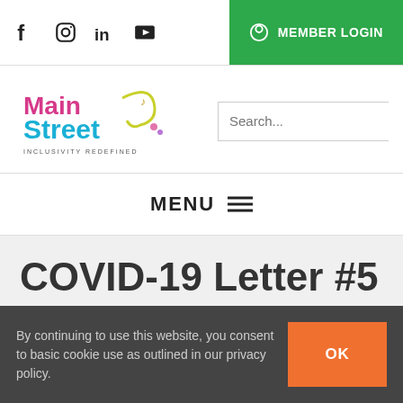Social icons: Facebook, Instagram, LinkedIn, YouTube | MEMBER LOGIN
[Figure (logo): Main Street - Inclusivity Redefined colorful logo]
Search...
MENU
COVID-19 Letter #5
By continuing to use this website, you consent to basic cookie use as outlined in our privacy policy.